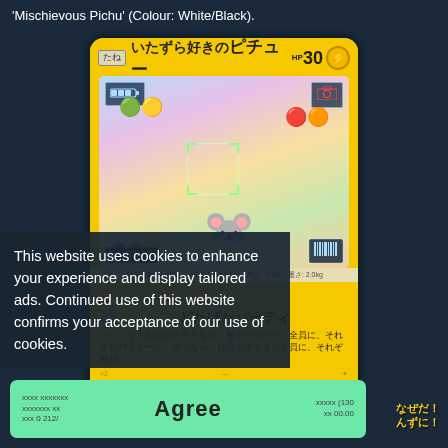'Mischievous Pichu' (Colour: White/Black).
[Figure (illustration): A Japanese Pokémon trading card showing 'いたずら好きのピチュー' (Mischievous Pichu) with HP 30 and lightning type. The card illustration shows Pichu in a green costume at a party with balloons, a trainer in background, camera UI overlays showing 00:02:14 timestamp and battery/camera icons. The card has an attack called 'どたばたバーティ' with Japanese text describing the attack effect. The card has a yellow background.]
This website uses cookies to enhance your experience and display tailored ads. Continued use of this website confirms your acceptance of our use of cookies.
Agree